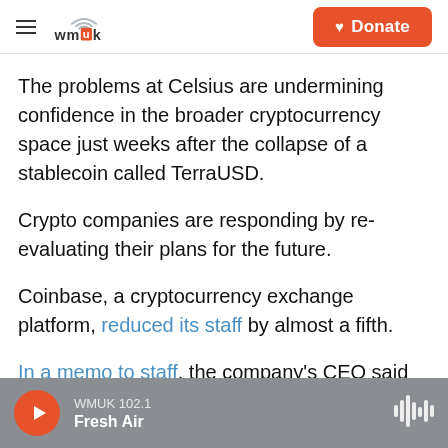WMUK | Donate
The problems at Celsius are undermining confidence in the broader cryptocurrency space just weeks after the collapse of a stablecoin called TerraUSD.
Crypto companies are responding by re-evaluating their plans for the future.
Coinbase, a cryptocurrency exchange platform, reduced its staff by almost a fifth.
In a memo to staff, the company's CEO said Coinbase "grew too quickly."
WMUK 102.1 Fresh Air